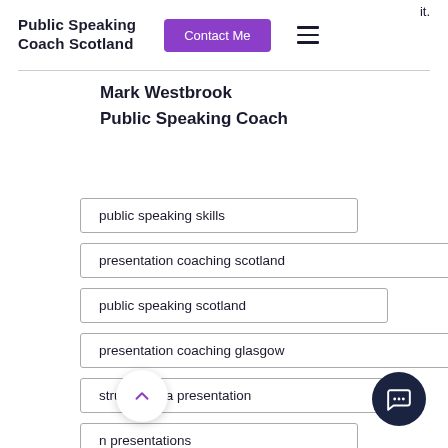it.
Public Speaking Coach Scotland
Contact Me
Mark Westbrook
Public Speaking Coach
public speaking skills
presentation coaching scotland
public speaking scotland
presentation coaching glasgow
structuring a presentation
n presentations